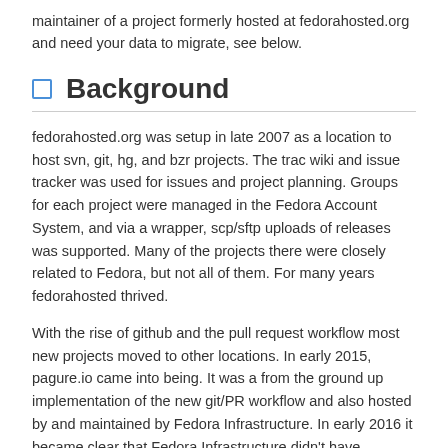maintainer of a project formerly hosted at fedorahosted.org and need your data to migrate, see below.
Background
fedorahosted.org was setup in late 2007 as a location to host svn, git, hg, and bzr projects. The trac wiki and issue tracker was used for issues and project planning. Groups for each project were managed in the Fedora Account System, and via a wrapper, scp/sftp uploads of releases was supported. Many of the projects there were closely related to Fedora, but not all of them. For many years fedorahosted thrived.
With the rise of github and the pull request workflow most new projects moved to other locations. In early 2015, pagure.io came into being. It was a from the ground up implementation of the new git/PR workflow and also hosted by and maintained by Fedora Infrastructure. In early 2016 it became clear that Fedora Infrastructure didn't have resources to keep maintaining both fedorahosted.org and pagure.io and so the announcement was made to retire fedorahosted. Maintainers have had, or the last year, to migrate their projects to...